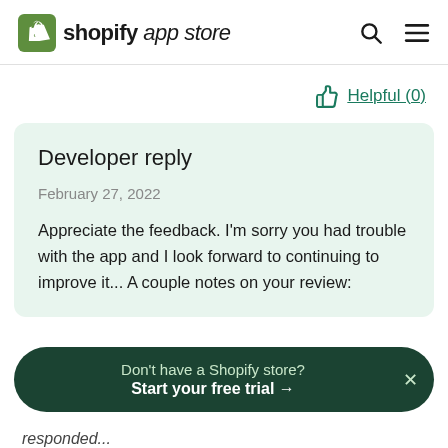shopify app store
Helpful (0)
Developer reply
February 27, 2022
Appreciate the feedback. I'm sorry you had trouble with the app and I look forward to continuing to improve it... A couple notes on your review:
Don't have a Shopify store? Start your free trial →
responded...